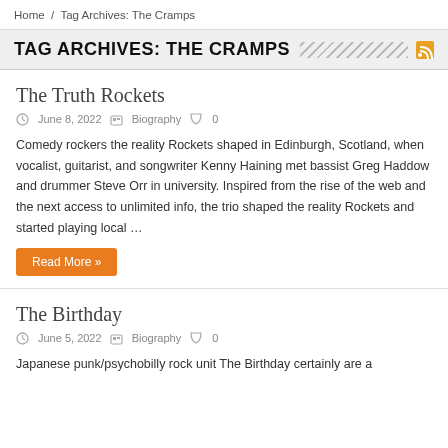Home / Tag Archives: The Cramps
TAG ARCHIVES: THE CRAMPS
The Truth Rockets
June 8, 2022   Biography   0
Comedy rockers the reality Rockets shaped in Edinburgh, Scotland, when vocalist, guitarist, and songwriter Kenny Haining met bassist Greg Haddow and drummer Steve Orr in university. Inspired from the rise of the web and the next access to unlimited info, the trio shaped the reality Rockets and started playing local …
Read More »
The Birthday
June 5, 2022   Biography   0
Japanese punk/psychobilly rock unit The Birthday certainly are a